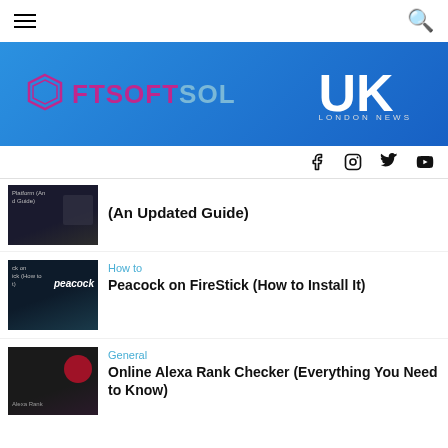FTSOFTSOL UK – London News
[Figure (logo): FTSOFTSOL UK London News banner logo on blue gradient background]
[Figure (infographic): Social media icons: Facebook, Instagram, Twitter, YouTube]
[Figure (photo): Thumbnail for article about platform guide (An Updated Guide)]
(An Updated Guide)
[Figure (photo): Thumbnail showing Peacock streaming service logo on TV screen]
How to
Peacock on FireStick (How to Install It)
[Figure (photo): Thumbnail showing Alexa Rank Checker article image]
General
Online Alexa Rank Checker (Everything You Need to Know)